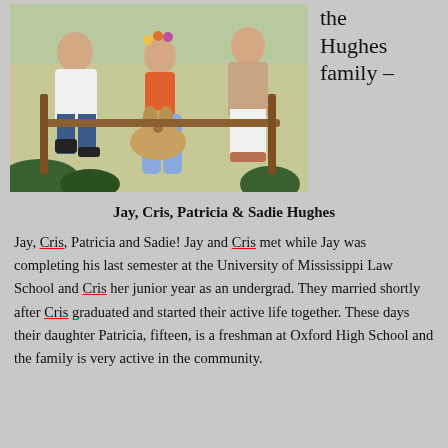[Figure (photo): Family photo of Jay, Cris, Patricia and Sadie Hughes (a dog) seated outside a house]
the Hughes family –
Jay, Cris, Patricia & Sadie Hughes
Jay, Cris, Patricia and Sadie!  Jay and Cris met while Jay was completing his last semester at the University of Mississippi Law School and Cris her junior year as an undergrad. They married shortly after Cris graduated and started their active life together. These days their daughter Patricia, fifteen, is a freshman at Oxford High School and the family is very active in the community.